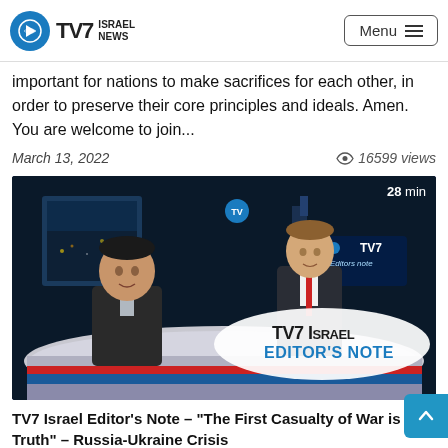TV7 Israel News | Menu
important for nations to make sacrifices for each other, in order to preserve their core principles and ideals. Amen. You are welcome to join...
March 13, 2022   16599 views
[Figure (screenshot): TV7 Israel studio thumbnail showing two male anchors at a news desk; overlay text reads 'TV7 ISRAEL EDITOR'S NOTE' and '28 min' duration badge in top right corner]
TV7 Israel Editor's Note – "The First Casualty of War is Truth" – Russia-Ukraine Crisis
Jonathan emphasizes that it is very hard to determine what